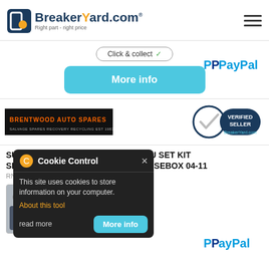[Figure (logo): BreakerYard.com logo with tagline 'Right part - right price']
[Figure (other): Hamburger menu icon]
Click & collect ✓
More info
[Figure (logo): PayPal logo]
[Figure (logo): Brentwood Auto Spares logo]
[Figure (logo): Verified Seller badge - BreakerYard.com]
SUZUKI SWIFT MK3 1.5 PETROL ECU SET KIT SPEEDOMETER UNDER BONNET FUSEBOX 04-11
RN1819...
Free UK Delivery
USED
[Figure (screenshot): Cookie Control popup overlay - dark background with orange gear icon, title 'Cookie Control', close X button, text 'This site uses cookies to store information on your computer.', 'About this tool' link in orange, 'read more' and 'More info' button]
[Figure (logo): PayPal logo bottom right]